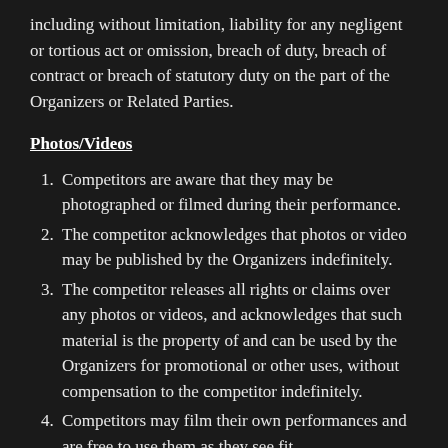including without limitation, liability for any negligent or tortious act or omission, breach of duty, breach of contract or breach of statutory duty on the part of the Organizers or Related Parties.
Photos/Videos
Competitors are aware that they may be photographed or filmed during their performance.
The competitor acknowledges that photos or video may be published by the Organizers indefinitely.
The competitor releases all rights or claims over any photos or videos, and acknowledges that such material is the property of and can be used by the Organizers for promotional or other uses, without compensation to the competitor indefinitely.
Competitors may film their own performances and are free to use them as they see fit.